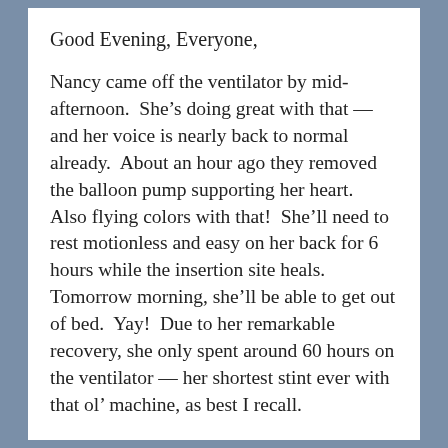Good Evening, Everyone,
Nancy came off the ventilator by mid-afternoon.  She’s doing great with that — and her voice is nearly back to normal already.  About an hour ago they removed the balloon pump supporting her heart.  Also flying colors with that!  She’ll need to rest motionless and easy on her back for 6 hours while the insertion site heals.  Tomorrow morning, she’ll be able to get out of bed.  Yay!  Due to her remarkable recovery, she only spent around 60 hours on the ventilator — her shortest stint ever with that ol’ machine, as best I recall.
From what I’ve gleaned from the doctors so far today, she will likely remain in the cardiac ICU until at least Tuesday.  The Monday ablation is now up in the air.  The